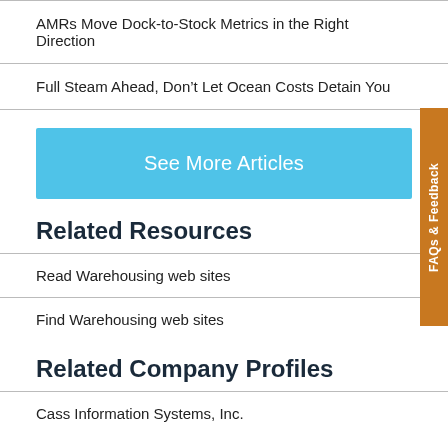AMRs Move Dock-to-Stock Metrics in the Right Direction
Full Steam Ahead, Don’t Let Ocean Costs Detain You
See More Articles
Related Resources
Read Warehousing web sites
Find Warehousing web sites
Related Company Profiles
Cass Information Systems, Inc.